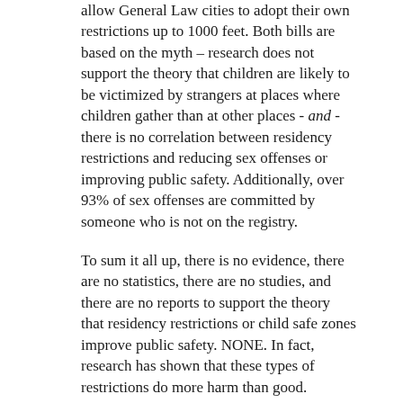allow General Law cities to adopt their own restrictions up to 1000 feet.  Both bills are based on the myth – research does not support the theory that children are likely to be victimized by strangers at places where children gather than at other places - and - there is no correlation between residency restrictions and reducing sex offenses or improving public safety. Additionally, over 93% of sex offenses are committed by someone who is not on the registry.
To sum it all up, there is no evidence, there are no statistics, there are no studies, and there are no reports to support the theory that residency restrictions or child safe zones improve public safety.  NONE.  In fact, research has shown that these types of restrictions do more harm than good.
We are still trying to kill both of these bills!
HB1064: The hearing for 1064 went really well.  Approximately 50 Texas Voices members attended, 7 testified 'against' and